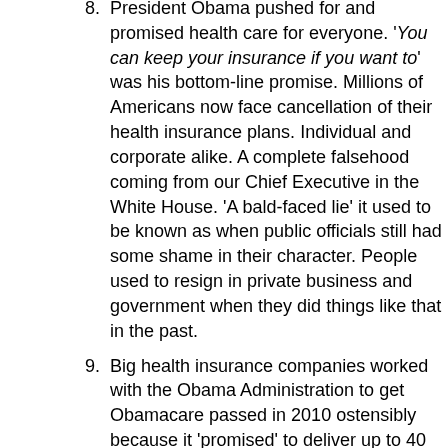President Obama pushed for and promised health care for everyone. 'You can keep your insurance if you want to' was his bottom-line promise. Millions of Americans now face cancellation of their health insurance plans. Individual and corporate alike. A complete falsehood coming from our Chief Executive in the White House. 'A bald-faced lie' it used to be known as when public officials still had some shame in their character. People used to resign in private business and government when they did things like that in the past.
Big health insurance companies worked with the Obama Administration to get Obamacare passed in 2010 ostensibly because it 'promised' to deliver up to 40 million new customers into their existing customer base, millions with substantial federal subsidies in hand. But then, for some unknown reason, the Big Health Insurance companies canceled plans in existence they say because of Obamacare! What the heck is going on here?
Congress has not dealt with anything at all and come to any practical working conclusion on the major problems we face as a nation. We now just have